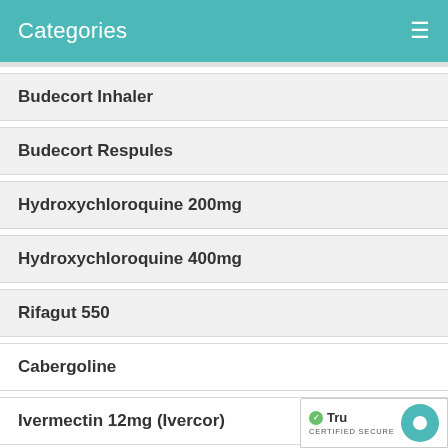Categories
Budecort Inhaler
Budecort Respules
Hydroxychloroquine 200mg
Hydroxychloroquine 400mg
Rifagut 550
Cabergoline
Ivermectin 12mg (Ivercor)
Doxycycline
Wysolone
Tadalafil (Actilis)